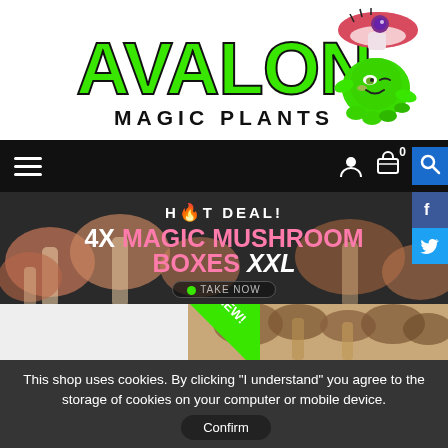[Figure (logo): Avalon Magic Plants logo with green bold text 'AVALON' and subtitle 'MAGIC PLANTS', with a cartoon mushroom character mascot on the right]
[Figure (screenshot): Navigation bar with hamburger menu on left, user icon, basket with 0 count, and search icon on right, on black background. Facebook and Twitter social buttons on far right side.]
[Figure (screenshot): Banner advertisement: 'HOT DEAL! 4X MAGIC MUSHROOM BOXES XXL' with mushroom background image and a 'TAKE NOW' button]
[Figure (screenshot): Product row with NEW badge and mushroom product image on right]
This shop uses cookies. By clicking "I understand" you agree to the storage of cookies on your computer or mobile device.
Confirm